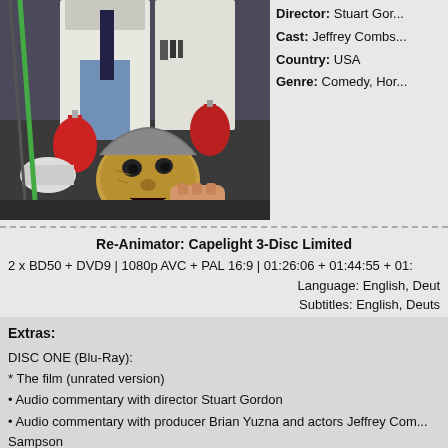[Figure (illustration): Horror movie artwork showing a scientist in a lab coat holding a severed head, surrounded by flasks with red liquid and laboratory equipment]
Director: Stuart Gordon
Cast: Jeffrey Combs
Country: USA
Genre: Comedy, Horror
Re-Animator: Capelight 3-Disc Limited
2 x BD50 + DVD9 | 1080p AVC + PAL 16:9 | 01:26:06 + 01:44:55 + 01:
Language: English, Deut
Subtitles: English, Deuts
Extras:
DISC ONE (Blu-Ray):
* The film (unrated version)
• Audio commentary with director Stuart Gordon
• Audio commentary with producer Brian Yuzna and actors Jeffrey Combs... Sampson
• Isolated music score (DTS 5.1)
• 'Re-Animator Resurrectus' documentary (65:49)